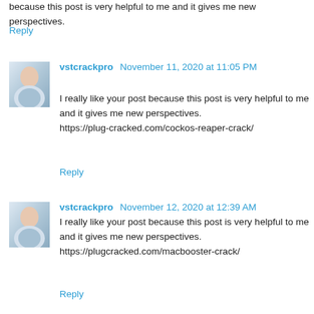because this post is very helpful to me and it gives me new perspectives.
Reply
vstcrackpro November 11, 2020 at 11:05 PM
I really like your post because this post is very helpful to me and it gives me new perspectives.
https://plug-cracked.com/cockos-reaper-crack/
Reply
vstcrackpro November 12, 2020 at 12:39 AM
I really like your post because this post is very helpful to me and it gives me new perspectives.
https://plugcracked.com/macbooster-crack/
Reply